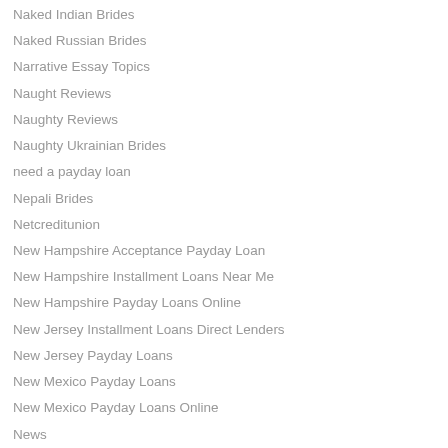Naked Indian Brides
Naked Russian Brides
Narrative Essay Topics
Naught Reviews
Naughty Reviews
Naughty Ukrainian Brides
need a payday loan
Nepali Brides
Netcreditunion
New Hampshire Acceptance Payday Loan
New Hampshire Installment Loans Near Me
New Hampshire Payday Loans Online
New Jersey Installment Loans Direct Lenders
New Jersey Payday Loans
New Mexico Payday Loans
New Mexico Payday Loans Online
News
Nicole Kidman Ukrainian Bride